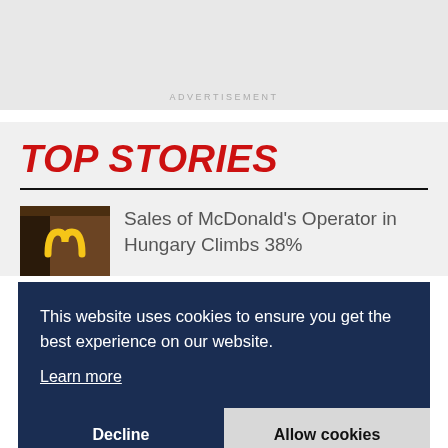[Figure (other): Advertisement placeholder block (gray background)]
ADVERTISEMENT
TOP STORIES
[Figure (photo): McDonald's golden arches sign photo thumbnail]
Sales of McDonald's Operator in Hungary Climbs 38%
This website uses cookies to ensure you get the best experience on our website.
Learn more
Decline
Allow cookies